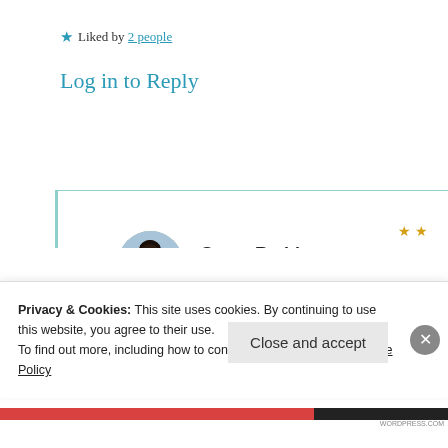★ Liked by 2 people
Log in to Reply
Suma Reddy
9th Jul 2021 at 2:23 am
Very true Deeksha, thank you very much for visiting n sharing your
Privacy & Cookies: This site uses cookies. By continuing to use this website, you agree to their use.
To find out more, including how to control cookies, see here: Cookie Policy
Close and accept